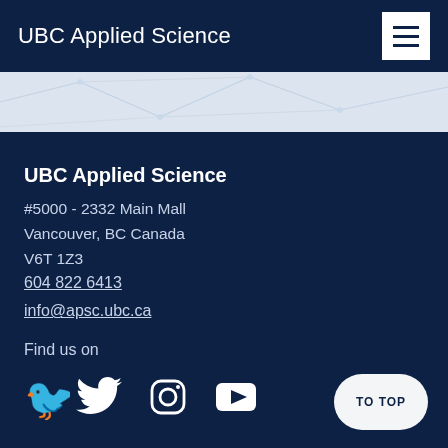UBC Applied Science
[Figure (other): Light geometric line pattern banner strip]
UBC Applied Science
#5000 - 2332 Main Mall
Vancouver, BC Canada
V6T 1Z3
604 822 6413
info@apsc.ubc.ca
Find us on
[Figure (illustration): Twitter, Instagram, and YouTube social media icons]
TO TOP